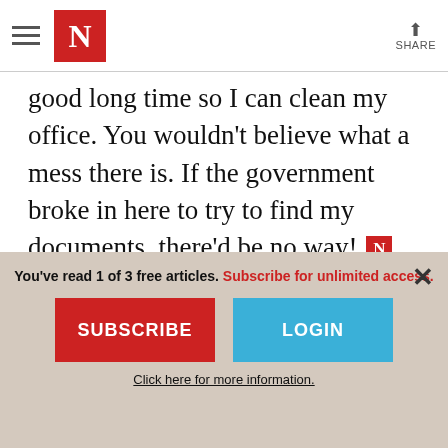The Nation — Navigation bar with hamburger menu, N logo, and Share button
good long time so I can clean my office. You wouldn't believe what a mess there is. If the government broke in here to try to find my documents, there'd be no way!
Mark Hertsgaard  Mark Hertsgaard is the executive director of Covering Climate Now, a global journalism initiative committed to more and
You've read 1 of 3 free articles. Subscribe for unlimited access.
SUBSCRIBE
LOGIN
Click here for more information.